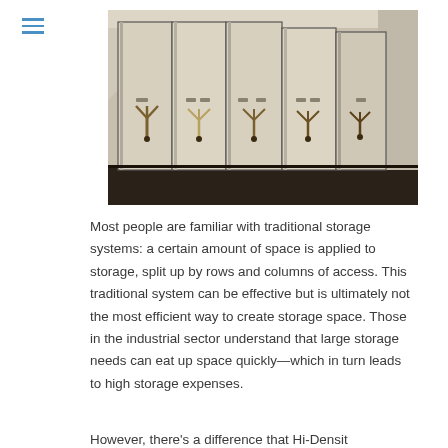[Figure (photo): A row of tall beige/cream colored mobile shelving units (compactus/high-density storage), each with a Y-shaped rotary handle mechanism in the middle, photographed in a storage room with dark floor and light walls.]
Most people are familiar with traditional storage systems: a certain amount of space is applied to storage, split up by rows and columns of access. This traditional system can be effective but is ultimately not the most efficient way to create storage space. Those in the industrial sector understand that large storage needs can eat up space quickly—which in turn leads to high storage expenses.
However, there's a difference that Hi-Densit...